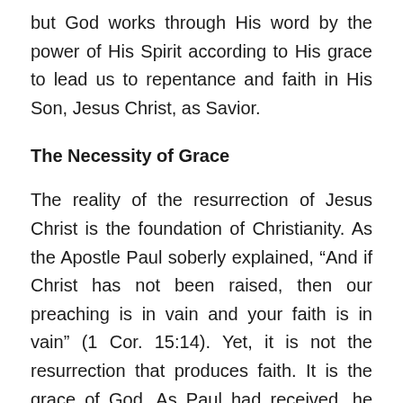but God works through His word by the power of His Spirit according to His grace to lead us to repentance and faith in His Son, Jesus Christ, as Savior.
The Necessity of Grace
The reality of the resurrection of Jesus Christ is the foundation of Christianity. As the Apostle Paul soberly explained, “And if Christ has not been raised, then our preaching is in vain and your faith is in vain” (1 Cor. 15:14). Yet, it is not the resurrection that produces faith. It is the grace of God. As Paul had received, he preached, “Christ died for our sins in accordance with the Scriptures, that he was buried, that he was raised on the third day in accordance with the Scriptures,” yet he confessed, “by the grace of God I am what I am, and this grace toward me was not in vain” (1 Cor. 15:3-4, 10).